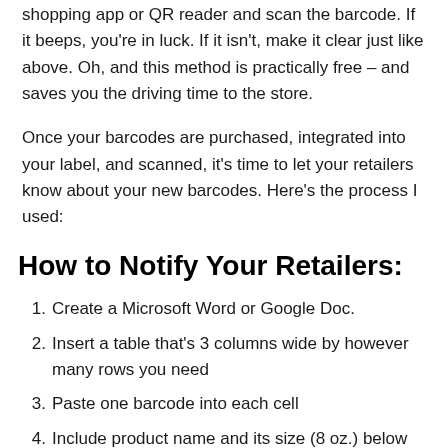shopping app or QR reader and scan the barcode. If it beeps, you're in luck. If it isn't, make it clear just like above. Oh, and this method is practically free – and saves you the driving time to the store.
Once your barcodes are purchased, integrated into your label, and scanned, it's time to let your retailers know about your new barcodes. Here's the process I used:
How to Notify Your Retailers:
1. Create a Microsoft Word or Google Doc.
2. Insert a table that's 3 columns wide by however many rows you need
3. Paste one barcode into each cell
4. (partial, cut off)